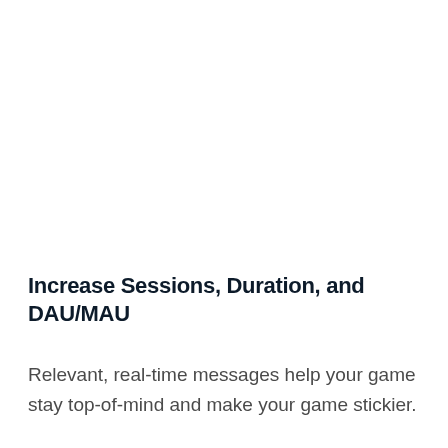Increase Sessions, Duration, and DAU/MAU
Relevant, real-time messages help your game stay top-of-mind and make your game stickier. OneSignal provides unparalleled scale and